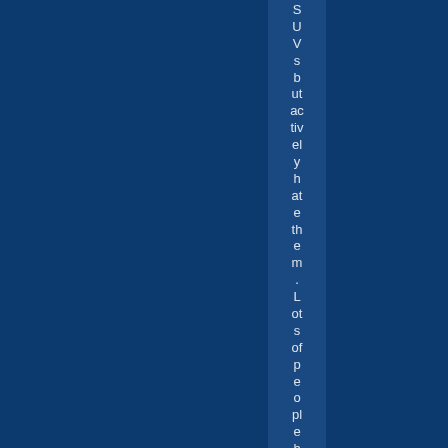SUVs but actively hate them. Lots of people have